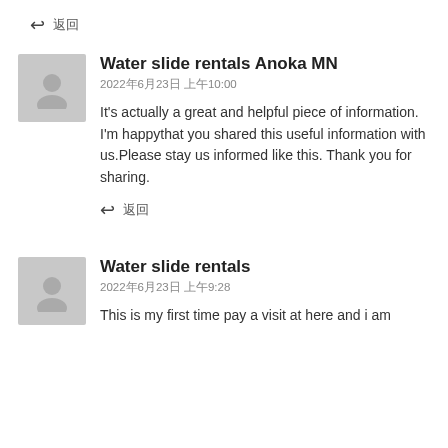↩ 返回
Water slide rentals Anoka MN
2022年6月23日 上午10:00
It's actually a great and helpful piece of information. I'm happythat you shared this useful information with us.Please stay us informed like this. Thank you for sharing.
↩ 返回
Water slide rentals
2022年6月23日 上午9:28
This is my first time pay a visit at here and i am